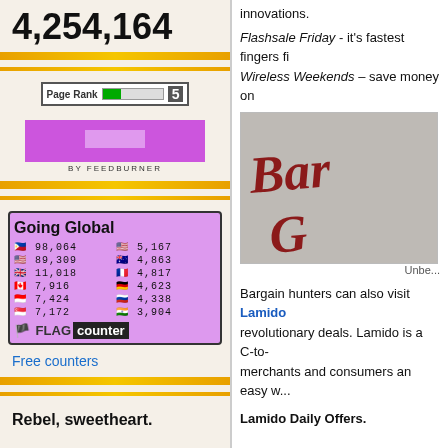4,254,164
[Figure (other): PageRank badge showing rank 5 with green bar indicator]
[Figure (other): FeedBurner subscribe button in purple]
[Figure (other): Going Global flag counter widget showing visitor counts by country: Philippines 98,064; USA 89,309; UK 11,018; Canada 7,916; Indonesia 7,424; Singapore 7,172; USA 5,167; Australia 4,863; France 4,817; Germany 4,623; Russia 4,338; India 3,904]
Free counters
Rebel, sweetheart.
innovations.
Flashsale Friday - it's fastest fingers fi...
Wireless Weekends – save money on...
[Figure (photo): Partial image showing cursive red text reading 'Barg... G...' on a distressed wall background - appears to be a 'Bargain Gate' or similar sign]
Unbe...
Bargain hunters can also visit Lamido revolutionary deals. Lamido is a C-to- merchants and consumers an easy w...
Lamido Daily Offers.